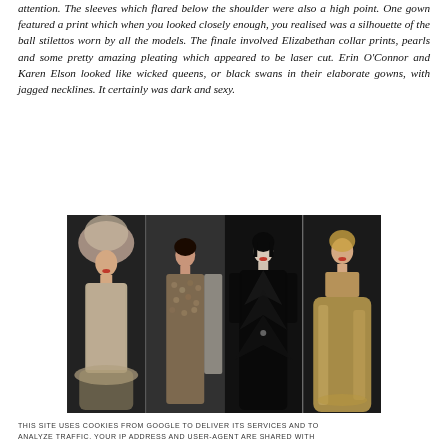attention. The sleeves which flared below the shoulder were also a high point. One gown featured a print which when you looked closely enough, you realised was a silhouette of the ball stilettos worn by all the models. The finale involved Elizabethan collar prints, pearls and some pretty amazing pleating which appeared to be laser cut. Erin O'Connor and Karen Elson looked like wicked queens, or black swans in their elaborate gowns, with jagged necklines. It certainly was dark and sexy.
[Figure (photo): Four fashion models on a runway wearing elaborate gowns: first model in a sequined strapless dress with feathered headpiece, second in a floral patterned jumpsuit, third in a dramatic black feathered/pleated gown, fourth in a champagne/gold strapless ballgown.]
THIS SITE USES COOKIES FROM GOOGLE TO DELIVER ITS SERVICES AND TO ANALYZE TRAFFIC. YOUR IP ADDRESS AND USER-AGENT ARE SHARED WITH